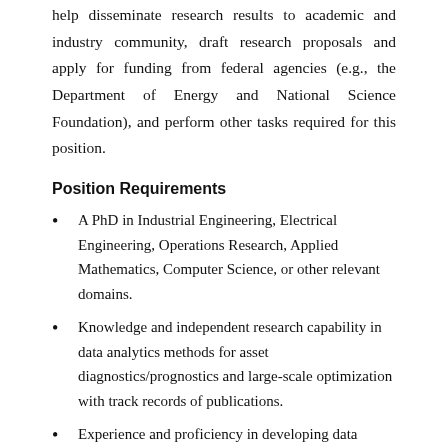help disseminate research results to academic and industry community, draft research proposals and apply for funding from federal agencies (e.g., the Department of Energy and National Science Foundation), and perform other tasks required for this position.
Position Requirements
A PhD in Industrial Engineering, Electrical Engineering, Operations Research, Applied Mathematics, Computer Science, or other relevant domains.
Knowledge and independent research capability in data analytics methods for asset diagnostics/prognostics and large-scale optimization with track records of publications.
Experience and proficiency in developing data analytics packages with mainstream